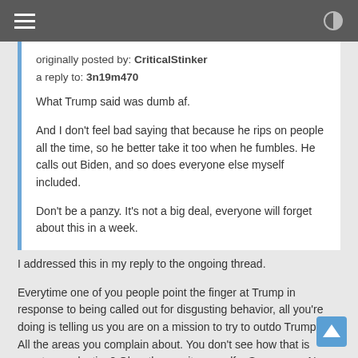originally posted by: CriticalStinker
a reply to: 3n19m470

What Trump said was dumb af.

And I don't feel bad saying that because he rips on people all the time, so he better take it too when he fumbles. He calls out Biden, and so does everyone else myself included.

Don't be a panzy. It's not a big deal, everyone will forget about this in a week.
I addressed this in my reply to the ongoing thread.

Everytime one of you people point the finger at Trump in response to being called out for disgusting behavior, all you're doing is telling us you are on a mission to try to outdo Trump in All the areas you complain about. You don't see how that is counter productive? Okay then, suit yourself... See you on Nov 9th 2020.🌑♂